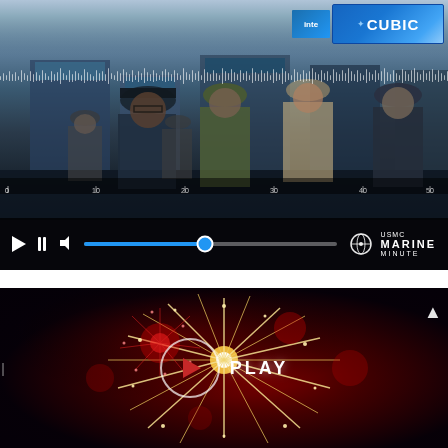[Figure (screenshot): Video player showing Marine Corps expo hall scene with military personnel in uniform conversing at a defense trade show. CUBIC and Intel booths visible in background. Video controls showing play/pause buttons, volume icon, blue progress bar at ~48%, and Marine Minute logo in bottom right.]
[Figure (screenshot): Video thumbnail showing fireworks display with red and white bursting fireworks against dark background. A circular play button with red triangle and 'PLAY' text is centered on the image. Navigation arrow visible in top right.]